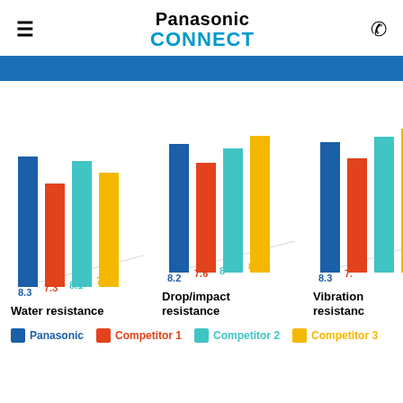Panasonic CONNECT
[Figure (grouped-bar-chart): Water resistance]
Water resistance
[Figure (grouped-bar-chart): Drop/impact resistance]
Drop/impact resistance
[Figure (grouped-bar-chart): Vibration resistance]
Vibration resistance
Panasonic  Competitor 1  Competitor 2  Competitor 3